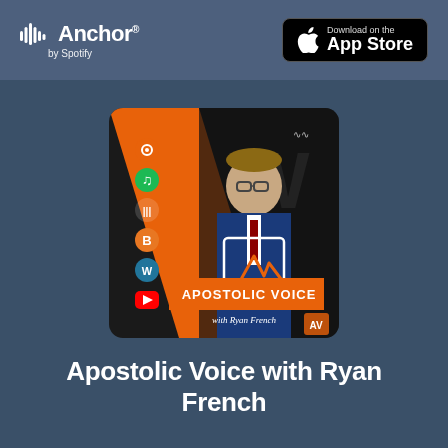Anchor by Spotify — Download on the App Store
[Figure (illustration): Podcast cover art for 'Apostolic Voice with Ryan French' showing a man in a blue suit with glasses, orange diagonal stripe, social media icons on the left, and text 'APOSTOLIC VOICE with Ryan French']
Apostolic Voice with Ryan French